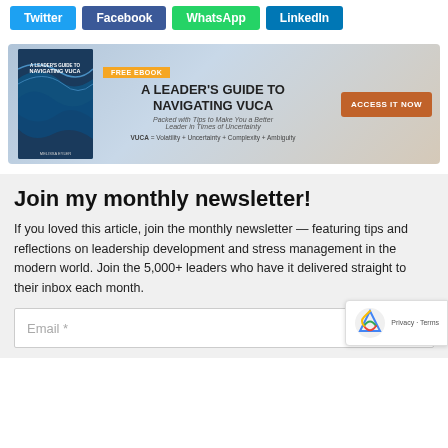[Figure (other): Social share buttons: Twitter (blue), Facebook (dark blue), WhatsApp (green), LinkedIn (blue)]
[Figure (infographic): Ad banner for free ebook 'A Leader's Guide to Navigating VUCA' with book cover image, orange CTA button 'ACCESS IT NOW', subtitle 'Packed with Tips to Make You a Better Leader in Times of Uncertainty', tagline 'VUCA = Volatility + Uncertainty + Complexity + Ambiguity']
Join my monthly newsletter!
If you loved this article, join the monthly newsletter — featuring tips and reflections on leadership development and stress management in the modern world. Join the 5,000+ leaders who have it delivered straight to their inbox each month.